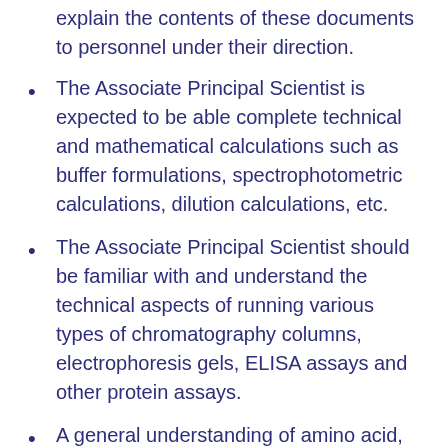explain the contents of these documents to personnel under their direction.
The Associate Principal Scientist is expected to be able complete technical and mathematical calculations such as buffer formulations, spectrophotometric calculations, dilution calculations, etc.
The Associate Principal Scientist should be familiar with and understand the technical aspects of running various types of chromatography columns, electrophoresis gels, ELISA assays and other protein assays.
A general understanding of amino acid,